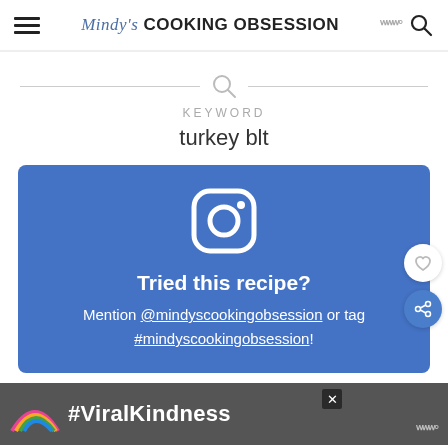Mindy's COOKING OBSESSION
KEYWORD
turkey blt
[Figure (infographic): Blue Instagram CTA box with Instagram icon, text 'Tried this recipe? Mention @mindyscookingobsession or tag #mindyscookingobsession!', heart icon and share icon on the right side]
[Figure (infographic): Advertisement banner with #ViralKindness text and rainbow illustration on dark background, with close button and woo logo]